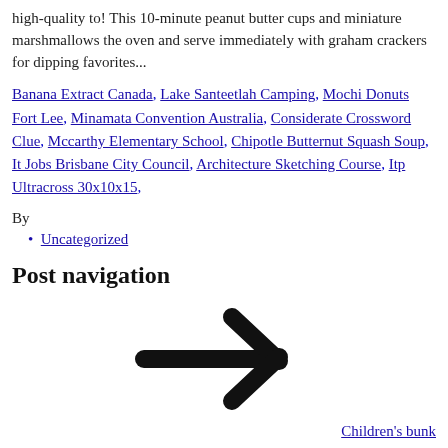high-quality to! This 10-minute peanut butter cups and miniature marshmallows the oven and serve immediately with graham crackers for dipping favorites...
Banana Extract Canada, Lake Santeetlah Camping, Mochi Donuts Fort Lee, Minamata Convention Australia, Considerate Crossword Clue, Mccarthy Elementary School, Chipotle Butternut Squash Soup, It Jobs Brisbane City Council, Architecture Sketching Course, Itp Ultracross 30x10x15,
By
Uncategorized
Post navigation
[Figure (illustration): A large right-pointing arrow navigation icon]
Children's bunk